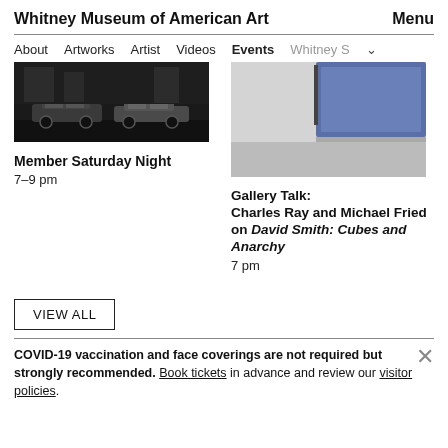Whitney Museum of American Art    Menu
About   Artworks   Artist   Videos   Events   Whitney S
[Figure (photo): Black and white photo of cars at night on a street]
Member Saturday Night
7–9 pm
[Figure (photo): Light gray gallery space with blue artwork visible]
Gallery Talk: Charles Ray and Michael Fried on David Smith: Cubes and Anarchy
7 pm
VIEW ALL
COVID-19 vaccination and face coverings are not required but strongly recommended. Book tickets in advance and review our visitor policies.